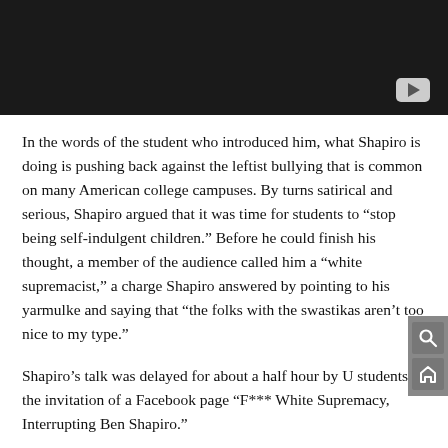[Figure (screenshot): Dark/black video thumbnail with a YouTube play button icon in the bottom-right corner]
In the words of the student who introduced him, what Shapiro is doing is pushing back against the leftist bullying that is common on many American college campuses. By turns satirical and serious, Shapiro argued that it was time for students to “stop being self-indulgent children.” Before he could finish his thought, a member of the audience called him a “white supremacist,” a charge Shapiro answered by pointing to his yarmulke and saying that “the folks with the swastikas aren’t too nice to my type.”
Shapiro’s talk was delayed for about a half hour by U students at the invitation of a Facebook page “F*** White Supremacy, Interrupting Ben Shapiro.”